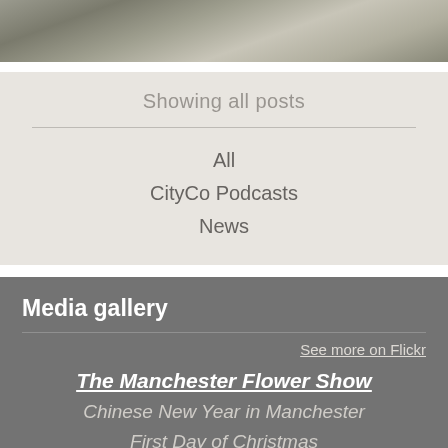[Figure (photo): Photo strip at top of page showing an outdoor scene with cobblestones and greenery, partially visible]
Showing all posts
All
CityCo Podcasts
News
Media gallery
See more on Flickr
The Manchester Flower Show
Chinese New Year in Manchester
First Day of Christmas
Halloween in the City